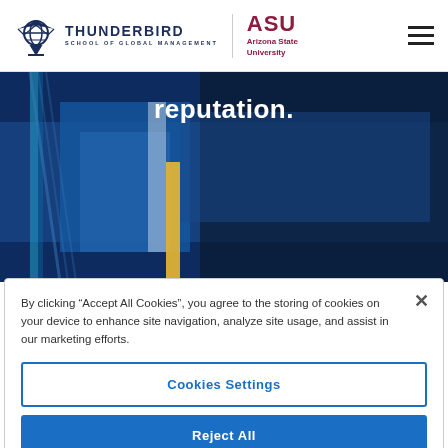Thunderbird School of Global Management | Arizona State University
[Figure (photo): Hero background image with blue abstract geometric shapes and the word 'reputation.' overlaid in bold white text]
By clicking “Accept All Cookies”, you agree to the storing of cookies on your device to enhance site navigation, analyze site usage, and assist in our marketing efforts.
Cookies Settings
Reject All